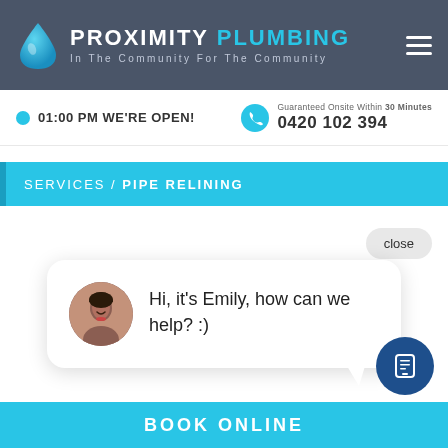PROXIMITY PLUMBING – In The Community For The Community
01:00 PM WE'RE OPEN!
Guaranteed Onsite Within 30 Minutes
0420 102 394
SERVICES / PIPE RELINING
close
Hi, it's Emily, how can we help? :)
BOOK ONLINE